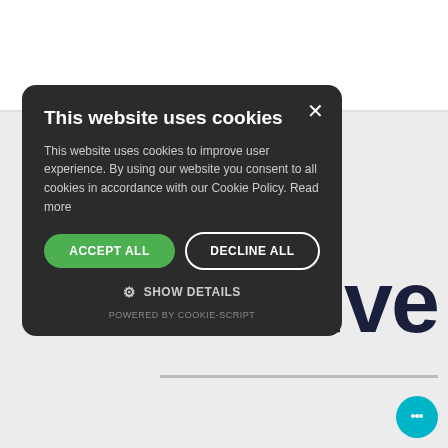[Figure (logo): FastPace Transfer logo — bold italic 'FAST' in navy blue, 'PACE' in red, with speed lines, and 'transfer' in italic below]
[Figure (other): Hamburger menu icon — three horizontal red bars stacked]
ive
[Figure (screenshot): Cookie consent modal dialog on dark background with title 'This website uses cookies', body text, ACCEPT ALL and DECLINE ALL buttons, SHOW DETAILS link, and POWERED BY COOKIE-SCRIPT footer]
This website uses cookies
This website uses cookies to improve user experience. By using our website you consent to all cookies in accordance with our Cookie Policy. Read more
ACCEPT ALL
DECLINE ALL
SHOW DETAILS
POWERED BY COOKIE-SCRIPT